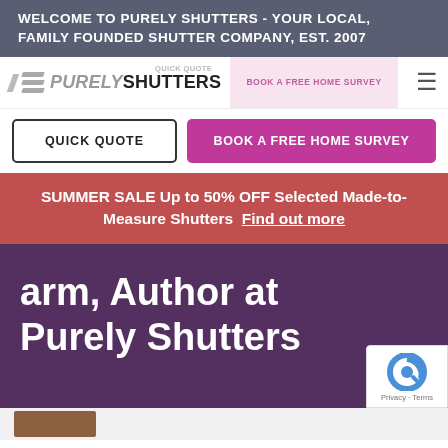WELCOME TO PURELY SHUTTERS - YOUR LOCAL, FAMILY FOUNDED SHUTTER COMPANY, EST. 2007
[Figure (logo): Purely Shutters logo with decorative slash marks and stylized text]
QUICK QUOTE
BOOK A FREE HOME SURVEY
QUICK QUOTE
BOOK A FREE HOME SURVEY
SUMMER SALE Up to 50% OFF Selected Made-to-Measure Shutters  Find out more
arm, Author at Purely Shutters